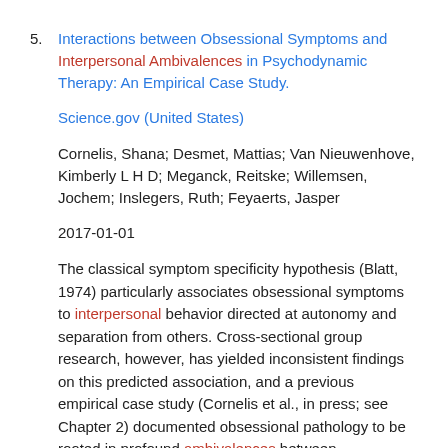5. Interactions between Obsessional Symptoms and Interpersonal Ambivalences in Psychodynamic Therapy: An Empirical Case Study.
Science.gov (United States)
Cornelis, Shana; Desmet, Mattias; Van Nieuwenhove, Kimberly L H D; Meganck, Reitske; Willemsen, Jochem; Inslegers, Ruth; Feyaerts, Jasper
2017-01-01
The classical symptom specificity hypothesis (Blatt, 1974) particularly associates obsessional symptoms to interpersonal behavior directed at autonomy and separation from others. Cross-sectional group research, however, has yielded inconsistent findings on this predicted association, and a previous empirical case study (Cornelis et al., in press; see Chapter 2) documented obsessional pathology to be rooted in profound ambivalences between autonomous and dependent interpersonal dynamics. Therefore, in the present empirical case study, concrete operationalizations of the classical symptom specificity hypothesis are contrasted to alternative